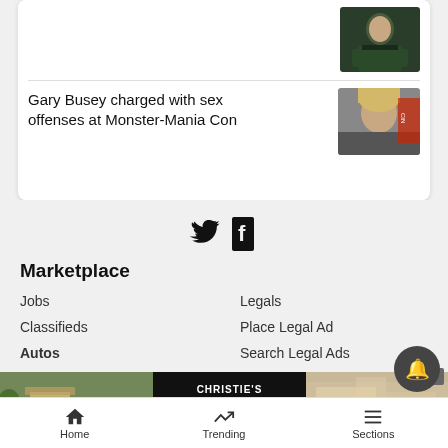[Figure (photo): Partial article row with person photo (man in dark jacket, arms crossed) visible at top]
Gary Busey charged with sex offenses at Monster-Mania Con
[Figure (photo): Thumbnail photo of Gary Busey with blonde hair, red text/logo visible]
[Figure (infographic): Twitter and Facebook social media icons]
Marketplace
Jobs
Classifieds
Autos
Real Esta[te]
Rentals
Legals
Place Legal Ad
Search Legal Ads
[Figure (photo): Advertisement banner: left panel shows Aspen Core real estate property, center shows Christie's International Real Estate Aspen Snowmass Haldeman Banner Team 970.510.0037, right panel shows Walk to Everything interior photo]
Home  Trending  Sections